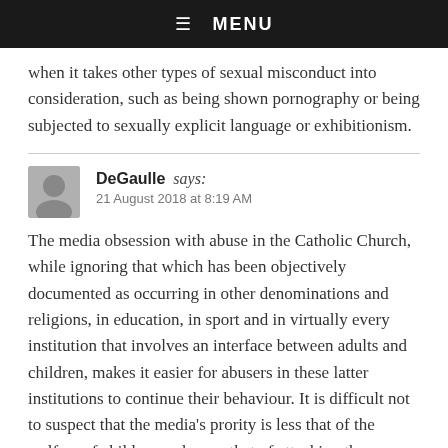☰  MENU
when it takes other types of sexual misconduct into consideration, such as being shown pornography or being subjected to sexually explicit language or exhibitionism.
DeGaulle says:
21 August 2018 at 8:19 AM
The media obsession with abuse in the Catholic Church, while ignoring that which has been objectively documented as occurring in other denominations and religions, in education, in sport and in virtually every institution that involves an interface between adults and children, makes it easier for abusers in these latter institutions to continue their behaviour. It is difficult not to suspect that the media's prority is less that of the welfare of children and more that of attacking the Catholic Church.